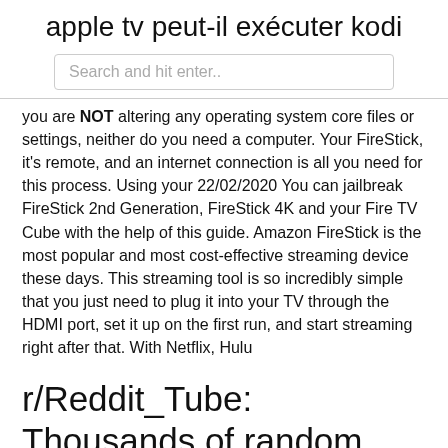apple tv peut-il exécuter kodi
[Figure (other): Search bar with placeholder text 'Search and hit enter..']
you are NOT altering any operating system core files or settings, neither do you need a computer. Your FireStick, it's remote, and an internet connection is all you need for this process. Using your 22/02/2020 You can jailbreak FireStick 2nd Generation, FireStick 4K and your Fire TV Cube with the help of this guide. Amazon FireStick is the most popular and most cost-effective streaming device these days. This streaming tool is so incredibly simple that you just need to plug it into your TV through the HDMI port, set it up on the first run, and start streaming right after that. With Netflix, Hulu
r/Reddit_Tube: Thousands of random youtube videos are posted on reddit every day. Come see what they are! Refresh often because /u/Reddit_Tube_bot …